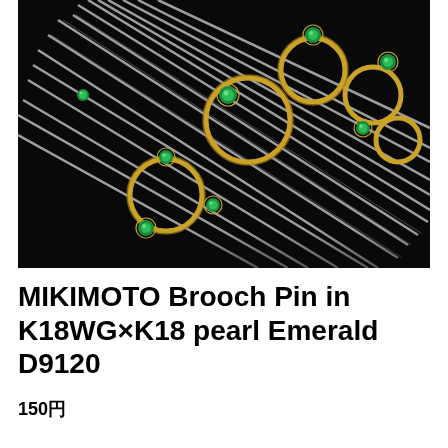[Figure (photo): A MIKIMOTO brooch pin photographed on a dark/black background. The brooch features multiple parallel silver/white gold pins arranged diagonally, with gold circular rings and green emerald gemstones set throughout the piece.]
MIKIMOTO Brooch Pin in K18WG×K18 pearl Emerald D9120
150円